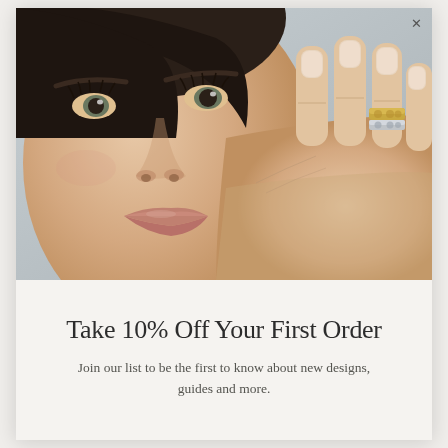[Figure (photo): Close-up photo of a woman's face and hand touching her cheek, wearing a decorative gold and silver stacked ring on her ring finger. Soft natural lighting, neutral background.]
Take 10% Off Your First Order
Join our list to be the first to know about new designs, guides and more.